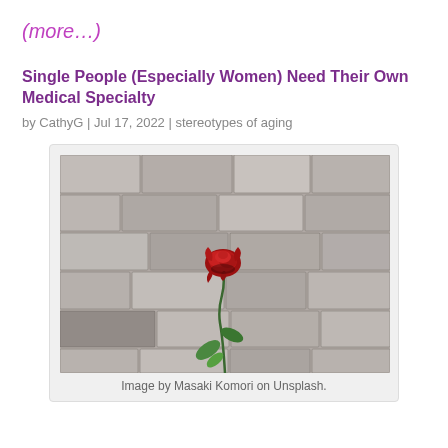(more...)
Single People (Especially Women) Need Their Own Medical Specialty
by CathyG | Jul 17, 2022 | stereotypes of aging
[Figure (photo): A single red rose with green leaves against a stone brick wall background. Image by Masaki Komori on Unsplash.]
Image by Masaki Komori on Unsplash.